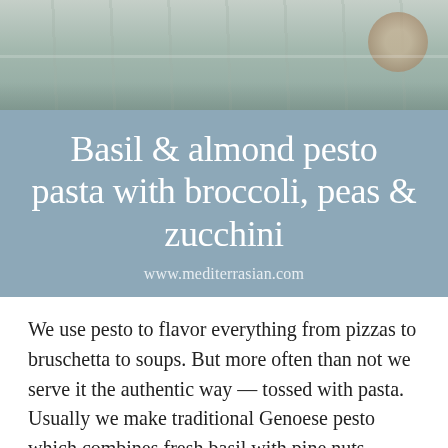[Figure (photo): Top portion of a food photo showing dishes on a weathered blue/grey wooden surface]
Basil & almond pesto pasta with broccoli, peas & zucchini
www.mediterrasian.com
We use pesto to flavor everything from pizzas to bruschetta to soups. But more often than not we serve it the authentic way — tossed with pasta. Usually we make traditional Genoese pesto which combines fresh basil with pine nuts, garlic, Parmesan and extra virgin olive oil. But we also like to mix things up occasionally and use different